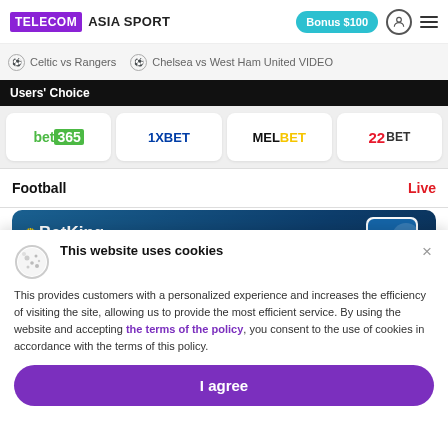TELECOM ASIA SPORT | Bonus $100
Celtic vs Rangers | Chelsea vs West Ham United VIDEO
Users' Choice
[Figure (logo): Bookmaker logos: bet365, 1XBET, MELBET, 22BET]
Football  Live
[Figure (illustration): BetKing promotional banner with text WE'VE MISSED YOU! and phone mockup]
This website uses cookies
This provides customers with a personalized experience and increases the efficiency of visiting the site, allowing us to provide the most efficient service. By using the website and accepting the terms of the policy, you consent to the use of cookies in accordance with the terms of this policy.
I agree